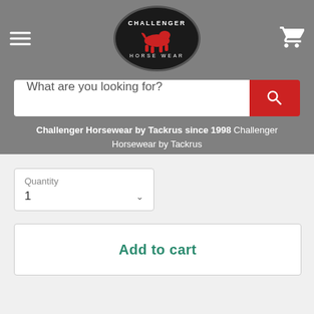Challenger Horse Wear
What are you looking for?
Challenger Horsewear by Tackrus since 1998 Challenger Horsewear by Tackrus
Quantity
1
Add to cart